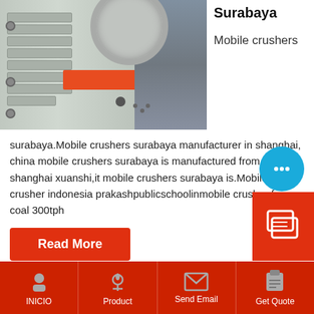[Figure (photo): Industrial jaw crusher machine with grey metal body, ribbed plates, orange label bar, and rocks in the background]
Surabaya
Mobile crushers
surabaya.Mobile crushers surabaya manufacturer in shanghai, china mobile crushers surabaya is manufactured from shanghai xuanshi,it mobile crushers surabaya is.Mobile crusher indonesia prakashpublicschoolinmobile crusher for coal 300tph
Read More
INICIO | Product | Send Email | Get Quote